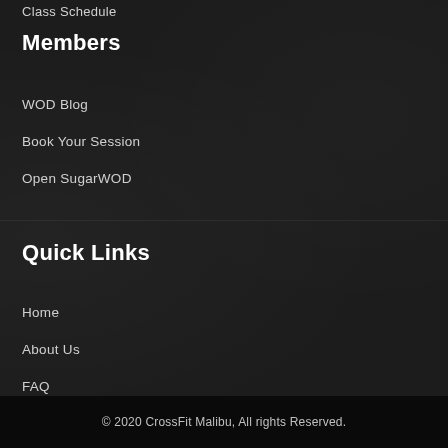Class Schedule
Members
WOD Blog
Book Your Session
Open SugarWOD
Quick Links
Home
About Us
FAQ
Contact
© 2020 CrossFit Malibu, All rights Reserved.